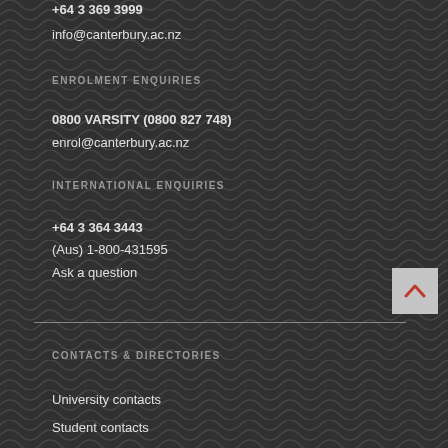+64 3 369 3999
info@canterbury.ac.nz
ENROLMENT ENQUIRIES
0800 VARSITY (0800 827 748)
enrol@canterbury.ac.nz
INTERNATIONAL ENQUIRIES
+64 3 364 3443
(Aus) 1-800-431595
Ask a question
CONTACTS & DIRECTORIES
University contacts
Student contacts